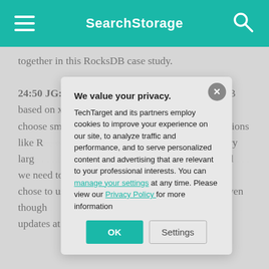SearchStorage
together in this RocksDB case study.

24:50 JG: We have done our own port of RocksDB based on xNVMe and here we make use of . . . We choose small zones because we prefer . . . Applications like RocksDB use level trees, so it's not always very large . . . you might have to . . . large zones will . . . we need to garb . . . compression and . . . chose to use stri . . . also use the Zo . . . are, even though . . . sequential, there . . . spare some of th . . . updates at the e . . . So, we take adv
We value your privacy.
TechTarget and its partners employ cookies to improve your experience on our site, to analyze traffic and performance, and to serve personalized content and advertising that are relevant to your professional interests. You can manage your settings at any time. Please view our Privacy Policy for more information